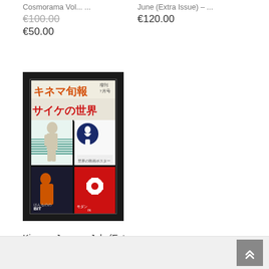Cosmorama Vol... ... June (Extra Issue) – ...
€100.00 (strikethrough) €120.00
€50.00
[Figure (photo): Cover of Kinema Junpo magazine July Extra Issue 1968, featuring Japanese text and four vintage film/art imagery panels on a dark background]
Kinema Junpo – July (Extra Issue) – 1968
€120.00